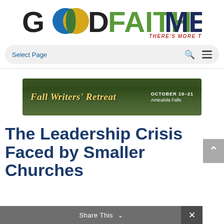[Figure (logo): Good Faith Media logo with colorful overlapping circles forming 'OO' in 'GOOD', followed by 'FAITH' in green and 'MEDIA' in dark navy. Tagline 'THERE'S MORE TO TELL' in red italic below.]
Select Page
[Figure (photo): Fall Writers' Retreat banner image with outdoor autumn scenery background. Text reads 'Fall Writers' Retreat' in yellow italic on the left and 'OCTOBER 19-21 Amicalola Falls' on the right in white.]
The Leadership Crisis Faced by Smaller Churches
Share This